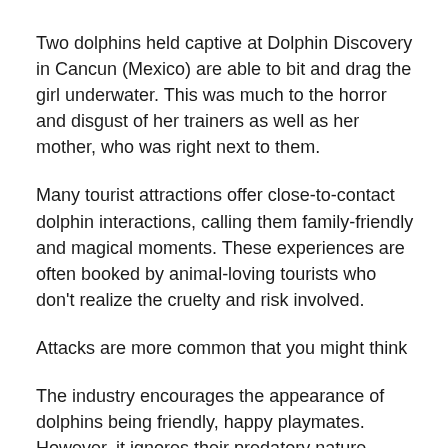Two dolphins held captive at Dolphin Discovery in Cancun (Mexico) are able to bit and drag the girl underwater. This was much to the horror and disgust of her trainers as well as her mother, who was right next to them.
Many tourist attractions offer close-to-contact dolphin interactions, calling them family-friendly and magical moments. These experiences are often booked by animal-loving tourists who don't realize the cruelty and risk involved.
Attacks are more common that you might think
The industry encourages the appearance of dolphins being friendly, happy playmates. However, it ignores their predatory nature. These complex hunters can inflict serious injuries on each other.